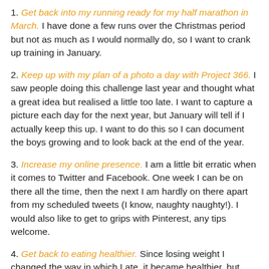1. Get back into my running ready for my half marathon in March. I have done a few runs over the Christmas period but not as much as I would normally do, so I want to crank up training in January.
2. Keep up with my plan of a photo a day with Project 366. I saw people doing this challenge last year and thought what a great idea but realised a little too late. I want to capture a picture each day for the next year, but January will tell if I actually keep this up. I want to do this so I can document the boys growing and to look back at the end of the year.
3. Increase my online presence. I am a little bit erratic when it comes to Twitter and Facebook. One week I can be on there all the time, then the next I am hardly on there apart from my scheduled tweets (I know, naughty naughty!). I would also like to get to grips with Pinterest, any tips welcome.
4. Get back to eating healthier. Since losing weight I changed the way in which I ate, it became healthier, but over Christmas I have slipped back into some bad eating habits of